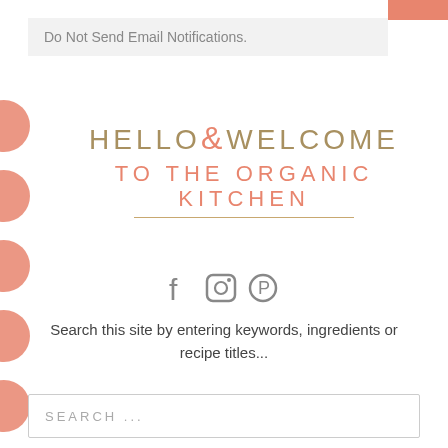Do Not Send Email Notifications.
[Figure (logo): Hello & Welcome To The Organic Kitchen logo with decorative typography and underline]
[Figure (illustration): Social media icons: Facebook, Instagram, Pinterest]
Search this site by entering keywords, ingredients or recipe titles...
SEARCH ...